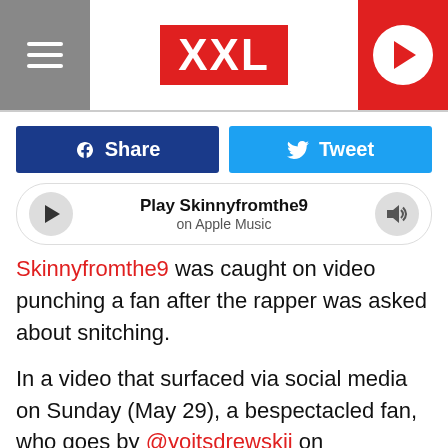XXL
Share
Tweet
Play Skinnyfromthe9 on Apple Music
Skinnyfromthe9 was caught on video punching a fan after the rapper was asked about snitching.
In a video that surfaced via social media on Sunday (May 29), a bespectacled fan, who goes by @yoitsdrewskii on Instagram, spotted Skinnyfromthe9 at an amusement park area and greeted him. The Florida rapper then asked the fan if he wanted to take a picture and proceeded to get ready for a quick [redacted] re questi[redacted]d.